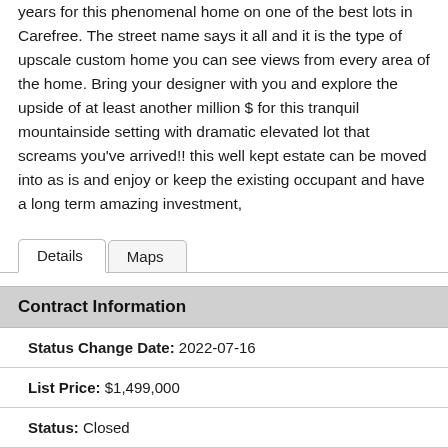years for this phenomenal home on one of the best lots in Carefree. The street name says it all and it is the type of upscale custom home you can see views from every area of the home. Bring your designer with you and explore the upside of at least another million $ for this tranquil mountainside setting with dramatic elevated lot that screams you've arrived!! this well kept estate can be moved into as is and enjoy or keep the existing occupant and have a long term amazing investment,
| Field | Value |
| --- | --- |
| Status Change Date: | 2022-07-16 |
| List Price: | $1,499,000 |
| Status: | Closed |